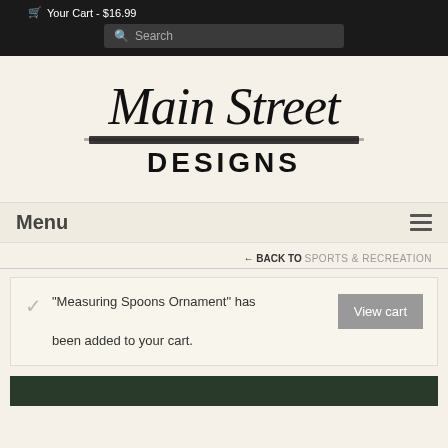Your Cart - $16.99
[Figure (logo): Main Street Designs logo with cursive script text 'Main Street' above a brushstroke and bold 'DESIGNS' below]
Menu
← BACK TO SPORTS & RECREATION
"Measuring Spoons Ornament" has been added to your cart.
[Figure (photo): Partial dark green photo at bottom of page]